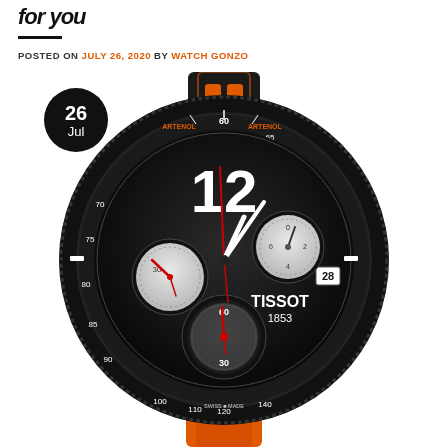for you
POSTED ON JULY 26, 2020 BY WATCH GONZO
[Figure (photo): Tissot 1853 chronograph watch with black case, red and orange rubber strap, chronograph subdials, and date display showing 28. The dial shows TISSOT 1853 branding. A date badge overlay shows '26 Jul'.]